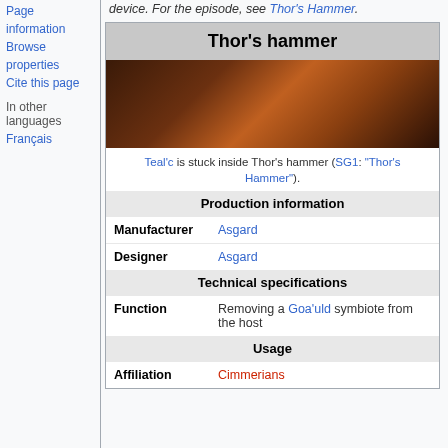Page information
Browse properties
Cite this page
In other languages
Français
device. For the episode, see Thor's Hammer.
Thor's hammer
[Figure (photo): Dark atmospheric image showing Thor's hammer device interior with orange/warm lighting]
Teal'c is stuck inside Thor's hammer (SG1: "Thor's Hammer").
| Production information |
| Manufacturer | Asgard |
| Designer | Asgard |
| Technical specifications |
| Function | Removing a Goa'uld symbiote from the host |
| Usage |
| Affiliation | Cimmerians |